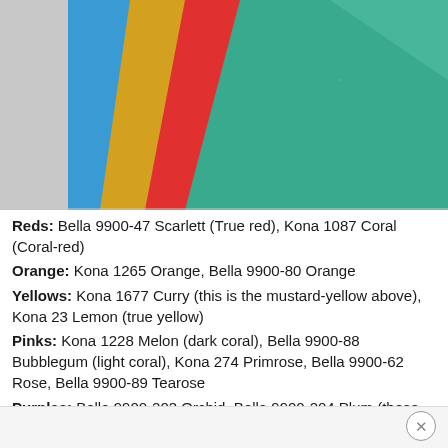[Figure (photo): Colorful folded fabric swatches fanned out: blue, mustard-yellow, red, light blue, and teal/green colors visible against a light gray background.]
Reds: Bella 9900-47 Scarlett (True red), Kona 1087 Coral (Coral-red)
Orange: Kona 1265 Orange, Bella 9900-80 Orange
Yellows: Kona 1677 Curry (this is the mustard-yellow above), Kona 23 Lemon (true yellow)
Pinks: Kona 1228 Melon (dark coral), Bella 9900-88 Bubblegum (light coral), Kona 274 Primrose, Bella 9900-62 Rose, Bella 9900-89 Tearose
Purples: Bella 9900-203 Orchid, Bella 9900-204 Plum (these are both more mauve but pretty!)